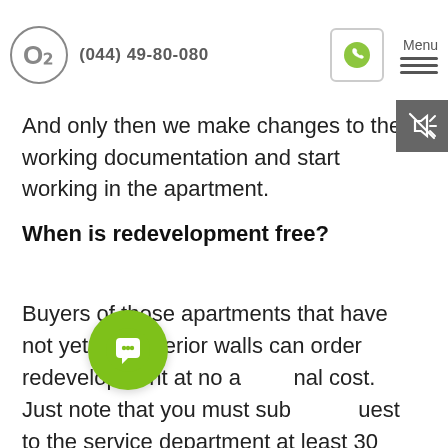(044) 49-80-080 | Menu
The project manager and chief architect must check the new layout for compliance with construction standards. And only then we make changes to the working documentation and start working in the apartment.
When is redevelopment free?
Buyers of those apartments that have not yet built interior walls can order redevelopment at no additional cost. Just note that you must submit a request to the service department at least 30 days before the start of masonry work on the floor. This period is necessary for the